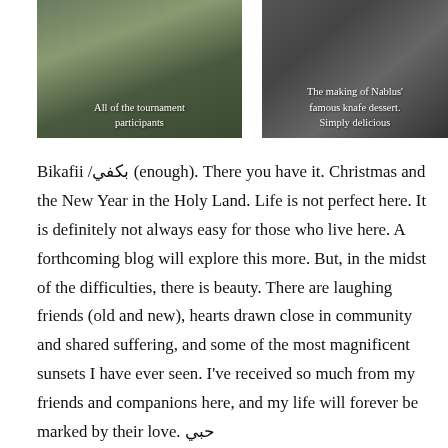[Figure (photo): Group photo of tournament participants on a sports field, outdoor setting with buildings in background. Caption reads: All of the tournament participants]
[Figure (photo): Indoor photo showing the making of knafe dessert in Nablus. Caption reads: The making of Nablus' famous knafe dessert. Simply delicious]
Bikafii /بكفي (enough). There you have it. Christmas and the New Year in the Holy Land. Life is not perfect here. It is definitely not always easy for those who live here. A forthcoming blog will explore this more. But, in the midst of the difficulties, there is beauty. There are laughing friends (old and new), hearts drawn close in community and shared suffering, and some of the most magnificent sunsets I have ever seen. I've received so much from my friends and companions here, and my life will forever be marked by their love. حبي